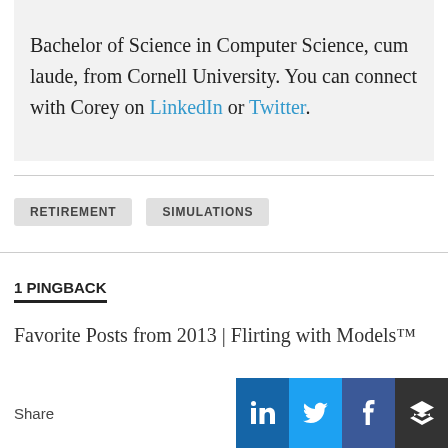Bachelor of Science in Computer Science, cum laude, from Cornell University. You can connect with Corey on LinkedIn or Twitter.
RETIREMENT
SIMULATIONS
1 PINGBACK
Favorite Posts from 2013 | Flirting with Models™